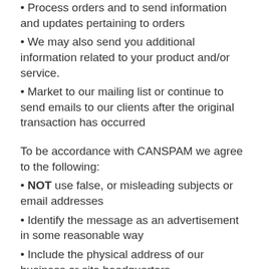• Process orders and to send information and updates pertaining to orders
• We may also send you additional information related to your product and/or service.
• Market to our mailing list or continue to send emails to our clients after the original transaction has occurred
To be accordance with CANSPAM we agree to the following:
• NOT use false, or misleading subjects or email addresses
• Identify the message as an advertisement in some reasonable way
• Include the physical address of our business or site headquarters
• Monitor third party email marketing services for compliance, if one is used.
• Honor opt-out/unsubscribe requests quickly